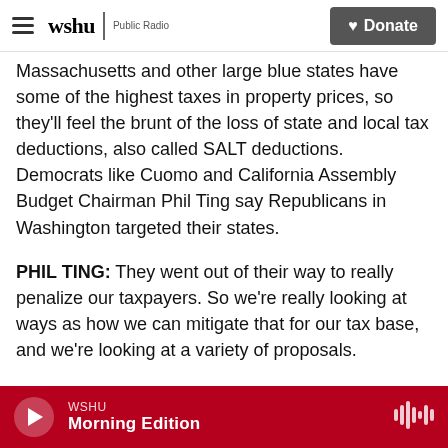wshu | Public Radio — Donate
Massachusetts and other large blue states have some of the highest taxes in property prices, so they'll feel the brunt of the loss of state and local tax deductions, also called SALT deductions. Democrats like Cuomo and California Assembly Budget Chairman Phil Ting say Republicans in Washington targeted their states.
PHIL TING: They went out of their way to really penalize our taxpayers. So we're really looking at ways as how we can mitigate that for our tax base, and we're looking at a variety of proposals.
BRADFORD: Some that might sound pretty zany
WSHU — Morning Edition